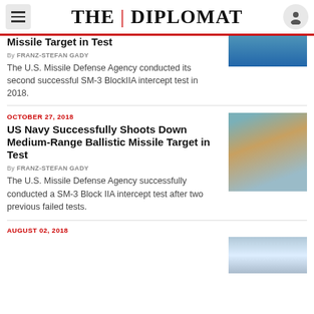THE | DIPLOMAT
Missile Target in Test
By FRANZ-STEFAN GADY
The U.S. Missile Defense Agency conducted its second successful SM-3 BlockIIA intercept test in 2018.
OCTOBER 27, 2018
US Navy Successfully Shoots Down Medium-Range Ballistic Missile Target in Test
By FRANZ-STEFAN GADY
The U.S. Missile Defense Agency successfully conducted a SM-3 Block IIA intercept test after two previous failed tests.
AUGUST 02, 2018